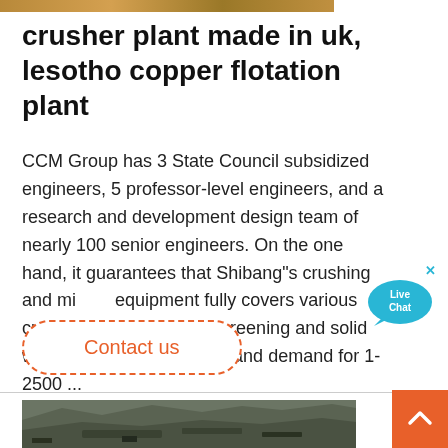[Figure (photo): Narrow horizontal strip photo at the top showing a mining/industrial site landscape]
crusher plant made in uk, lesotho copper flotation plant
CCM Group has 3 State Council subsidized engineers, 5 professor-level engineers, and a research and development design team of nearly 100 senior engineers. On the one hand, it guarantees that Shibang"s crushing and mining equipment fully covers various crushing, sand making, screening and solid waste treatment. Demand and demand for 1-2500 ...
[Figure (illustration): Live Chat speech bubble UI element with cyan/teal color]
Contact us
[Figure (photo): Aerial or ground-level photo of a mining quarry or crusher plant site showing rocky terrain and industrial equipment]